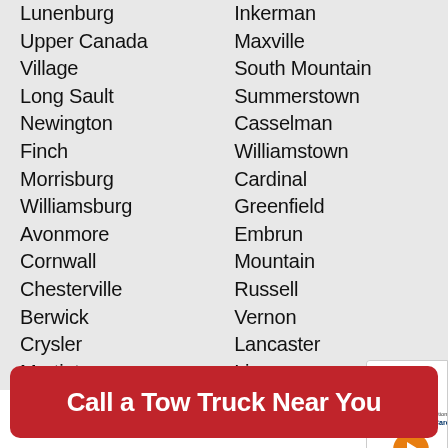Lunenburg Upper Canada Village Long Sault Newington Finch Morrisburg Williamsburg Avonmore Cornwall Chesterville Berwick Crysler Martintown Moose Creek Winchester
Inkerman Maxville South Mountain Summerstown Casselman Williamstown Cardinal Greenfield Embrun Mountain Russell Vernon Lancaster Limoges South Lancaster
[Figure (other): Advertisement overlay - Sysnet Global Solutions Assurance Card with orange button/icon]
Call a Tow Truck Near You